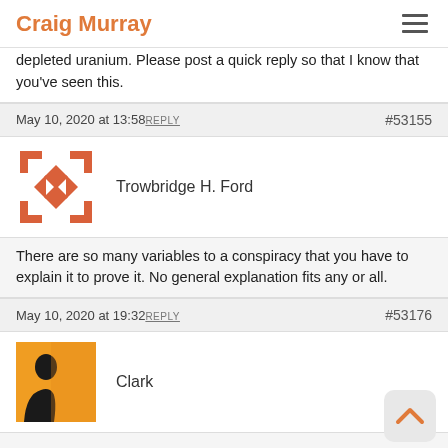Craig Murray
depleted uranium. Please post a quick reply so that I know that you've seen this.
May 10, 2020 at 13:58 REPLY  #53155
[Figure (logo): Avatar for Trowbridge H. Ford — orange geometric diamond/arrow pattern]
Trowbridge H. Ford
There are so many variables to a conspiracy that you have to explain it to prove it. No general explanation fits any or all.
May 10, 2020 at 19:32 REPLY  #53176
[Figure (photo): Avatar for Clark — silhouette of person against orange/yellow background]
Clark